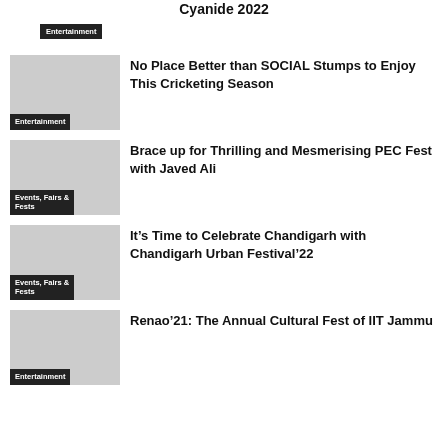Cyanide 2022
Entertainment
No Place Better than SOCIAL Stumps to Enjoy This Cricketing Season
Entertainment
Brace up for Thrilling and Mesmerising PEC Fest with Javed Ali
Events, Fairs & Fests
It’s Time to Celebrate Chandigarh with Chandigarh Urban Festival’22
Events, Fairs & Fests
Renao’21: The Annual Cultural Fest of IIT Jammu
Entertainment